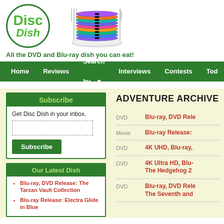[Figure (logo): Disc Dish logo: green circle with 'Disc Dish' text in green, stacked discs on a plate with fork and knife]
All the DVD and Blu-ray dish you can eat!
Home   Reviews   Search by...   Interviews   Contests   Tod
Subscribe
Get Disc Dish in your inbox.
Our Latest Dish
Blu-ray, DVD Release: The Tarzan Vault Collection
Blu-ray Release: Electra Glide in Blue
ADVENTURE ARCHIVE
DVD — Blu-ray, DVD Rele
Movie — Blu-ray Release:
DVD — 4K UHD, Blu-ray,
DVD — 4K Ultra HD, Blu- The Hedgehog 2
DVD — Blu-ray, DVD Rele The Seventh and